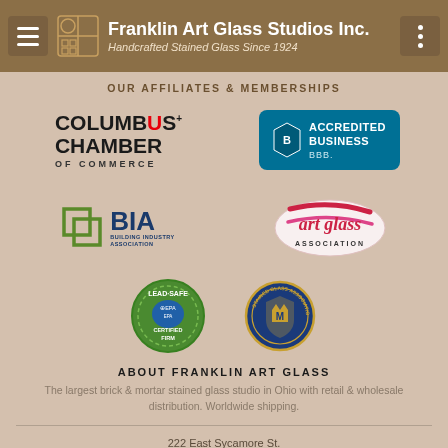Franklin Art Glass Studios Inc. — Handcrafted Stained Glass Since 1924
OUR AFFILIATES & MEMBERSHIPS
[Figure (logo): Columbus Chamber of Commerce logo]
[Figure (logo): BBB Accredited Business badge]
[Figure (logo): BIA Building Industry Association logo]
[Figure (logo): Art Glass Association logo]
[Figure (logo): EPA Lead-Safe Certified Firm badge]
[Figure (logo): Stained Glass Association round badge]
ABOUT FRANKLIN ART GLASS
The largest brick & mortar stained glass studio in Ohio with retail & wholesale distribution. Worldwide shipping.
222 East Sycamore St.
Columbus, OH 43206-2198